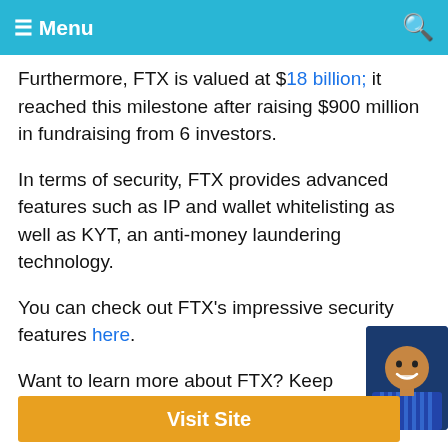Menu
Furthermore, FTX is valued at $18 billion; it reached this milestone after raising $900 million in fundraising from 6 investors.
In terms of security, FTX provides advanced features such as IP and wallet whitelisting as well as KYT, an anti-money laundering technology.
You can check out FTX's impressive security features here.
Want to learn more about FTX? Keep reading
[Figure (photo): Headshot of a smiling person wearing a striped shirt]
Visit Site